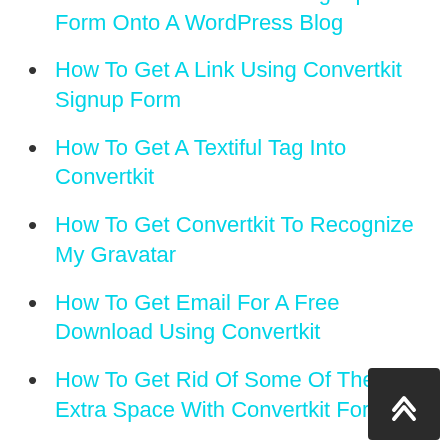How To Get A Convertkit Signup Form Onto A WordPress Blog
How To Get A Link Using Convertkit Signup Form
How To Get A Textiful Tag Into Convertkit
How To Get Convertkit To Recognize My Gravatar
How To Get Email For A Free Download Using Convertkit
How To Get Rid Of Some Of The Extra Space With Convertkit Form
How To Get Teachable Email List To Convertkit
How To Get The Public Link For A Convertkit Landing Page? How To Create Popup Form In